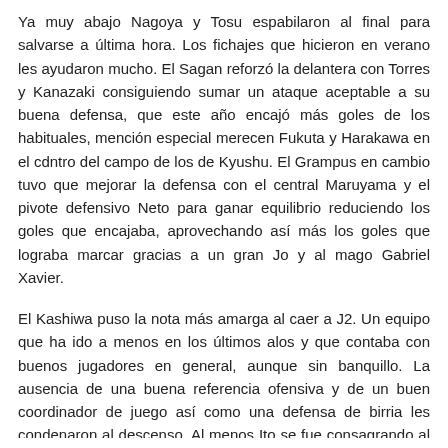Ya muy abajo Nagoya y Tosu espabilaron al final para salvarse a última hora. Los fichajes que hicieron en verano les ayudaron mucho. El Sagan reforzó la delantera con Torres y Kanazaki consiguiendo sumar un ataque aceptable a su buena defensa, que este año encajó más goles de los habituales, mención especial merecen Fukuta y Harakawa en el cdntro del campo de los de Kyushu. El Grampus en cambio tuvo que mejorar la defensa con el central Maruyama y el pivote defensivo Neto para ganar equilibrio reduciendo los goles que encajaba, aprovechando así más los goles que lograba marcar gracias a un gran Jo y al mago Gabriel Xavier.
El Kashiwa puso la nota más amarga al caer a J2. Un equipo que ha ido a menos en los últimos alos y que contaba con buenos jugadores en general, aunque sin banquillo. La ausencia de una buena referencia ofensiva y de un buen coordinador de juego así como una defensa de birria les condenaron al descenso. Al menos Ito se fue consagrando al igual que Koike y Segawa consiguió ganarse una formación aceprable cara al futuro.
Por último el Nagasaki aunque bajó dio buena imagen y rindió muy